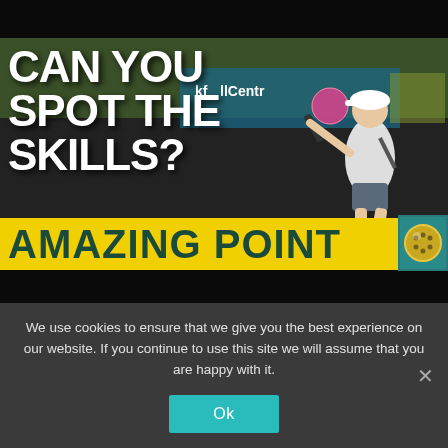[Figure (screenshot): Screenshot of a pickleball video thumbnail showing a player mid-game with the text 'CAN YOU SPOT THE SKILLS?' overlaid in bold white letters and a yellow banner at the bottom reading 'AMAZING POINT' with a pickleball icon/logo.]
We use cookies to ensure that we give you the best experience on our website. If you continue to use this site we will assume that you are happy with it.
Ok